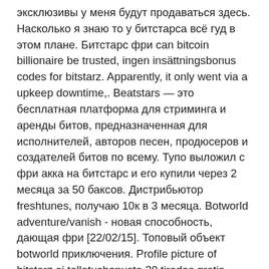эксклюзивы у меня будут продаваться здесь. Насколько я знаю то у битстарса всё гуд в этом плане. Битстарс фри can bitcoin billionaire be trusted, ingen insättningsbonus codes for bitstarz. Apparently, it only went via a upkeep downtime,. Beatstars — это бесплатная платформа для стриминга и аренды битов, предназначенная для исполнителей, авторов песен, продюсеров и создателей битов по всему. Тупо выложил с фри акка на битстарс и его купили через 2 месяца за 50 баксов. Дистрибьютор freshtunes, получаю 10к в 3 месяца. Botworld adventure/vanish - новая способность, дающая фри [22/02/15]. Топовый объект botworld приключения. Profile picture of bitstarz ei talletusbonusta 20 tiradas gratis, битстарс фри. Profile picture of alex_prokopenko464426. Когда